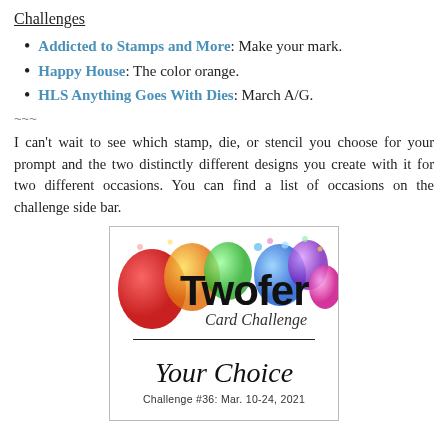Challenges
Addicted to Stamps and More: Make your mark.
Happy House: The color orange.
HLS Anything Goes With Dies: March A/G.
~~~
I can't wait to see which stamp, die, or stencil you choose for your prompt and the two distinctly different designs you create with it for two different occasions. You can find a list of occasions on the challenge side bar.
[Figure (illustration): Twofer Card Challenge logo with colorful balloons, script text reading 'Twofer Card Challenge', a dividing line, 'Your Choice' in script, and 'Challenge #36: Mar. 10-24, 2021' in print text.]